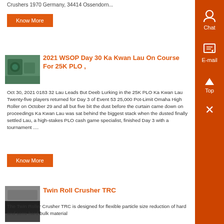Crushers 1970 Germany, 34414 Ossendorn...
Know More
[Figure (photo): Industrial machinery - green crusher/blower equipment]
2021 WSOP Day 30 Ka Kwan Lau On Course For 25K PLO ,
Oct 30, 2021 0183 32 Lau Leads But Deeb Lurking in the 25K PLO Ka Kwan Lau Twenty-five players returned for Day 3 of Event 53 25,000 Pot-Limit Omaha High Roller on October 29 and all but five bit the dust before the curtain came down on proceedings Ka Kwan Lau was sat behind the biggest stack when the dusted finally settled Lau, a high-stakes PLO cash game specialist, finished Day 3 with a tournament ....
Know More
[Figure (photo): Twin roll crusher machinery - dark industrial equipment]
Twin Roll Crusher TRC
The Twin Roller Crusher TRC is designed for flexible particle size reduction of hard and semi-hard bulk material